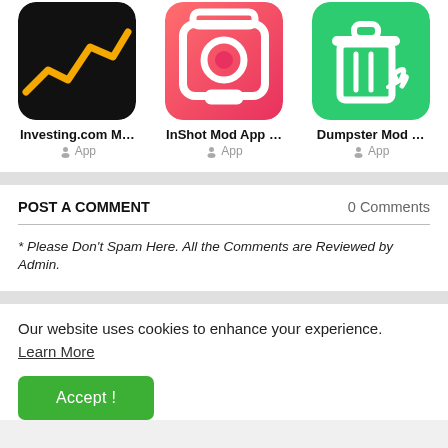[Figure (screenshot): Three app icons in a row: Investing.com (black background with yellow line chart), InShot Mod App (pink/red background with camera icon), Dumpster Mod (green background with trash can icon)]
Investing.com M…
App
InShot Mod App …
App
Dumpster Mod …
App
POST A COMMENT
0 Comments
* Please Don't Spam Here. All the Comments are Reviewed by Admin.
Our website uses cookies to enhance your experience. Learn More
Accept !